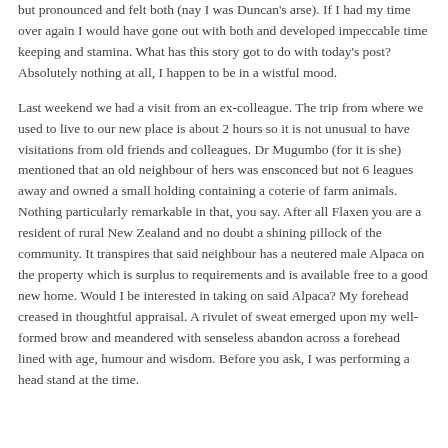but pronounced and felt both (nay I was Duncan's arse). If I had my time over again I would have gone out with both and developed impeccable time keeping and stamina. What has this story got to do with today's post? Absolutely nothing at all, I happen to be in a wistful mood.
Last weekend we had a visit from an ex-colleague. The trip from where we used to live to our new place is about 2 hours so it is not unusual to have visitations from old friends and colleagues. Dr Mugumbo (for it is she) mentioned that an old neighbour of hers was ensconced but not 6 leagues away and owned a small holding containing a coterie of farm animals. Nothing particularly remarkable in that, you say. After all Flaxen you are a resident of rural New Zealand and no doubt a shining pillock of the community. It transpires that said neighbour has a neutered male Alpaca on the property which is surplus to requirements and is available free to a good new home. Would I be interested in taking on said Alpaca? My forehead creased in thoughtful appraisal. A rivulet of sweat emerged upon my well-formed brow and meandered with senseless abandon across a forehead lined with age, humour and wisdom. Before you ask, I was performing a head stand at the time.